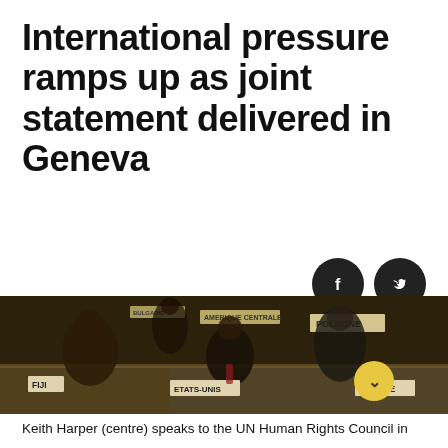International pressure ramps up as joint statement delivered in Geneva
[Figure (photo): Photo of delegates at the UN Human Rights Council chamber in Geneva. Visible nameplates include FIJI, ETATS-UNIS (United States), ESTONIE (Estonia), and POLOGNE (Poland). Keith Harper is shown centre speaking at the session. Social media share icons (Facebook, Twitter) appear in the upper right of the photo area. A yellow down-arrow button appears in the lower right of the photo.]
Keith Harper (centre) speaks to the UN Human Rights Council in